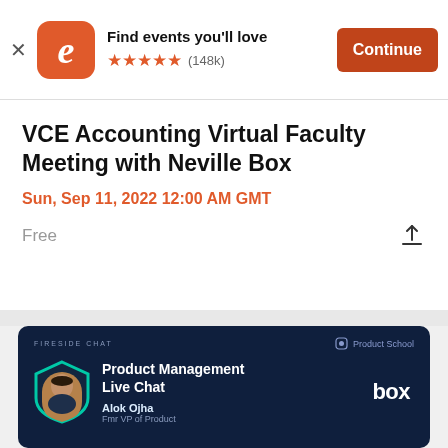[Figure (screenshot): Eventbrite app banner with orange logo, star rating (148k), and Continue button]
VCE Accounting Virtual Faculty Meeting with Neville Box
Sun, Sep 11, 2022 12:00 AM GMT
Free
[Figure (infographic): Dark navy promo card: FIRESIDE CHAT | Product School logo. Avatar with teal shield. Product Management Live Chat. Alok Ojha, Fmr VP of Product. Box logo.]